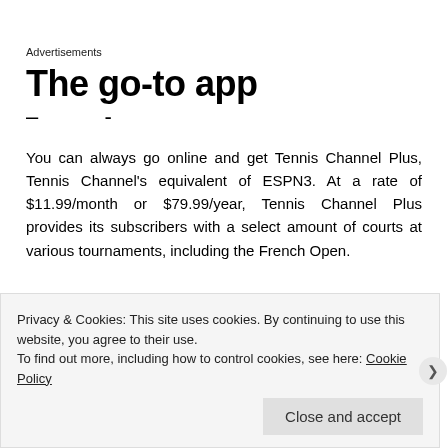Advertisements
The go-to app
You can always go online and get Tennis Channel Plus, Tennis Channel's equivalent of ESPN3. At a rate of $11.99/month or $79.99/year, Tennis Channel Plus provides its subscribers with a select amount of courts at various tournaments, including the French Open.
Privacy & Cookies: This site uses cookies. By continuing to use this website, you agree to their use.
To find out more, including how to control cookies, see here: Cookie Policy
Close and accept